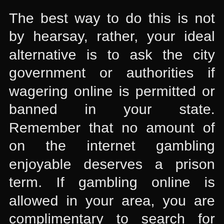The best way to do this is not by hearsay, rather, your ideal alternative is to ask the city government or authorities if wagering online is permitted or banned in your state. Remember that no amount of on the internet gambling enjoyable deserves a prison term. If gambling online is allowed in your area, you are complimentary to search for sports book websites or on the internet casino sites to begin pc gaming. Registration is standard treatment to begin your video gaming profession. This usually needs personal information like checking account number, address, telephone number, your email, and also